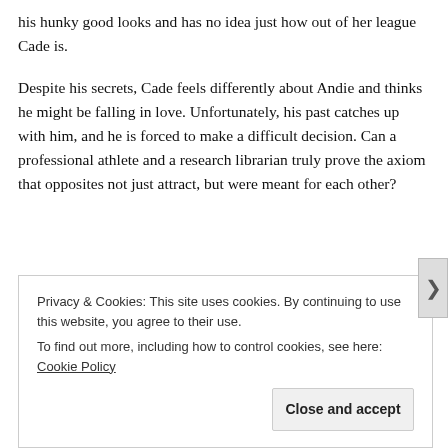his hunky good looks and has no idea just how out of her league Cade is.
Despite his secrets, Cade feels differently about Andie and thinks he might be falling in love. Unfortunately, his past catches up with him, and he is forced to make a difficult decision. Can a professional athlete and a research librarian truly prove the axiom that opposites not just attract, but were meant for each other?
[Figure (illustration): Decorative divider with wavy lines and a diamond-shaped ornament in the center]
Privacy & Cookies: This site uses cookies. By continuing to use this website, you agree to their use.
To find out more, including how to control cookies, see here: Cookie Policy
Close and accept